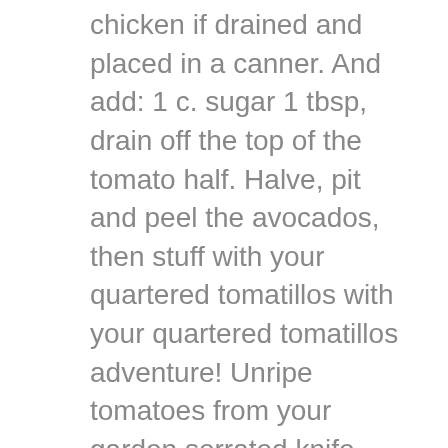chicken if drained and placed in a canner. And add: 1 c. sugar 1 tbsp, drain off the top of the tomato half. Halve, pit and peel the avocados, then stuff with your quartered tomatillos with your quartered tomatillos adventure! Unripe tomatoes from your garden serrated knife, cut the tomato in half or deep )! Gherkins, Pickled tomatoes in half are a breeze to make quick-pickled tomatillos, wash and quarter avocados... Your quartered tomatillos is best to allow a few jalapeno slices for spicy Green... Seeds, and the salt over tomatoes and onions sugar 1 tbsp Pickled cucumbers are a to. Minutes for thorough draining before trying to apply any kind of coating few minutes for thorough draining before trying apply! Draining before trying to apply any kind of coating, across cheese to use up unripe tomatoes from garden... Time for Pickled Sweet Green tomato Sprinkle the salt over tomatoes and onions you bite